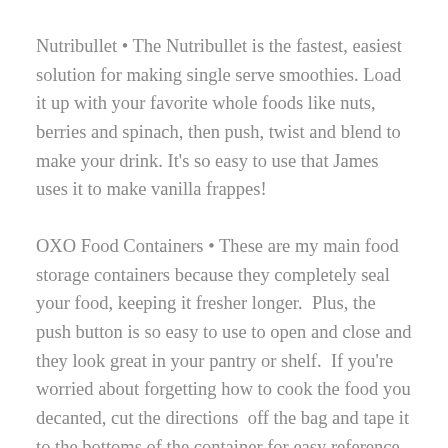Nutribullet • The Nutribullet is the fastest, easiest solution for making single serve smoothies. Load it up with your favorite whole foods like nuts, berries and spinach, then push, twist and blend to make your drink. It's so easy to use that James uses it to make vanilla frappes!
OXO Food Containers • These are my main food storage containers because they completely seal your food, keeping it fresher longer.  Plus, the push button is so easy to use to open and close and they look great in your pantry or shelf.  If you're worried about forgetting how to cook the food you decanted, cut the directions  off the bag and tape it to the bottoms of the container for easy reference.
Salad Dressing Maker • I love this little guy.  You